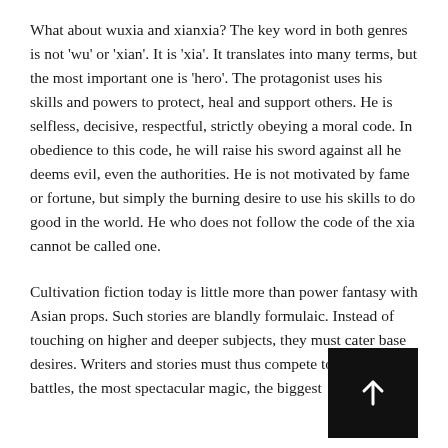full potential. Instead of bending Heaven and Earth to your will, you become one with all things.
What about wuxia and xianxia? The key word in both genres is not 'wu' or 'xian'. It is 'xia'. It translates into many terms, but the most important one is 'hero'. The protagonist uses his skills and powers to protect, heal and support others. He is selfless, decisive, respectful, strictly obeying a moral code. In obedience to this code, he will raise his sword against all he deems evil, even the authorities. He is not motivated by fame or fortune, but simply the burning desire to use his skills to do good in the world. He who does not follow the code of the xia cannot be called one.
Cultivation fiction today is little more than power fantasy with Asian props. Such stories are blandly formulaic. Instead of touching on higher and deeper subjects, they must cater base desires. Writers and stories must thus compete to h bloodiest battles, the most spectacular magic, the biggest